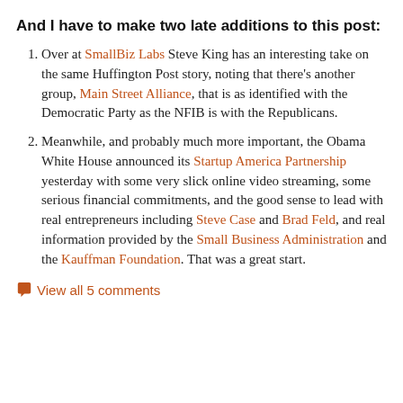And I have to make two late additions to this post:
Over at SmallBiz Labs Steve King has an interesting take on the same Huffington Post story, noting that there's another group, Main Street Alliance, that is as identified with the Democratic Party as the NFIB is with the Republicans.
Meanwhile, and probably much more important, the Obama White House announced its Startup America Partnership yesterday with some very slick online video streaming, some serious financial commitments, and the good sense to lead with real entrepreneurs including Steve Case and Brad Feld, and real information provided by the Small Business Administration and the Kauffman Foundation. That was a great start.
View all 5 comments